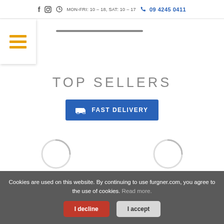f  [instagram icon]  MON-FRI: 10 – 18, SAT: 10 – 17  09 4245 0411
[Figure (other): Hamburger menu icon with three orange horizontal lines on white background with shadow]
TOP SELLERS
[Figure (other): Blue button with truck icon and text FAST DELIVERY]
[Figure (other): Two circular loading spinner icons side by side]
Cookies are used on this website. By continuing to use furgner.com, you agree to the use of cookies. Read more.
I decline
I accept